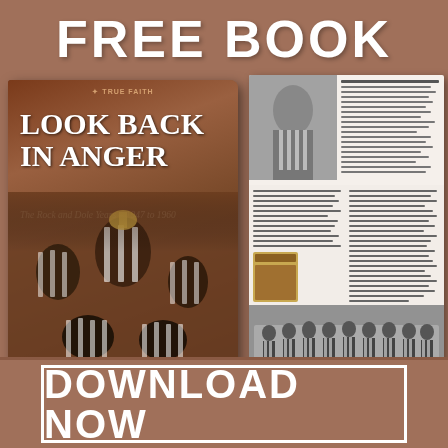FREE BOOK
[Figure (photo): Promotional advertisement for a free book titled 'Look Back in Anger: The Rock and Dole Years - 1947 to 1960' by Ken Brown, published by True Faith. Shows book cover with football players in black and white stripes holding a trophy, alongside sample interior pages of the book.]
DOWNLOAD NOW